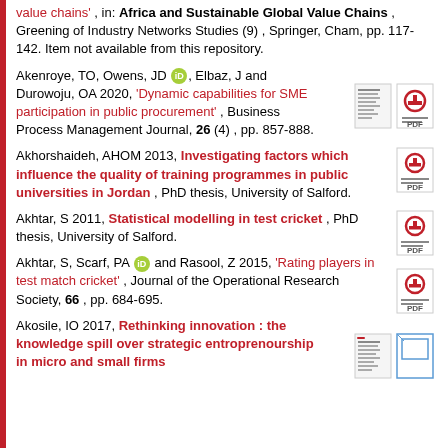value chains' , in: Africa and Sustainable Global Value Chains , Greening of Industry Networks Studies (9) , Springer, Cham, pp. 117-142. Item not available from this repository.
Akenroye, TO, Owens, JD [orcid], Elbaz, J and Durowoju, OA 2020, 'Dynamic capabilities for SME participation in public procurement' , Business Process Management Journal, 26 (4) , pp. 857-888.
Akhorshaideh, AHOM 2013, Investigating factors which influence the quality of training programmes in public universities in Jordan , PhD thesis, University of Salford.
Akhtar, S 2011, Statistical modelling in test cricket , PhD thesis, University of Salford.
Akhtar, S, Scarf, PA [orcid] and Rasool, Z 2015, 'Rating players in test match cricket' , Journal of the Operational Research Society, 66 , pp. 684-695.
Akosile, IO 2017, Rethinking innovation : the knowledge spill over strategic entroprenourship in micro and small firms